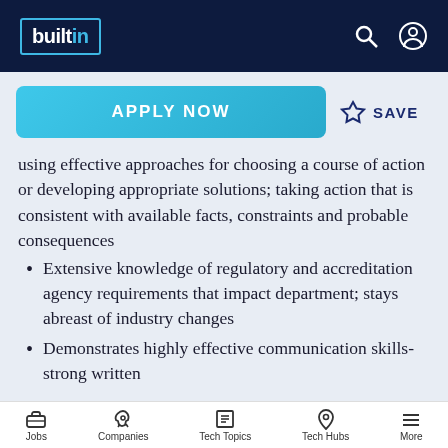builtin
using effective approaches for choosing a course of action or developing appropriate solutions; taking action that is consistent with available facts, constraints and probable consequences
Extensive knowledge of regulatory and accreditation agency requirements that impact department; stays abreast of industry changes
Demonstrates highly effective communication skills-strong written
Jobs | Companies | Tech Topics | Tech Hubs | More